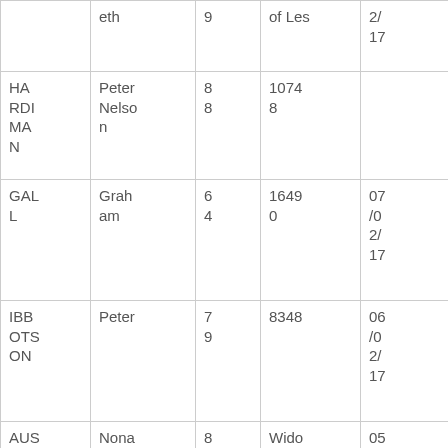|  | eth | 9 | of Les | 2/
17 |
| HARDIMAN | Peter Nelson | 88 | 10748 |  |
| GALL | Graham | 64 | 16490 | 07/02/17 |
| IBBOTSON | Peter | 79 | 8348 | 06/02/17 |
| AUSTIN | Nona Emily | 88 | Widow of Leslie | 05/02/ |